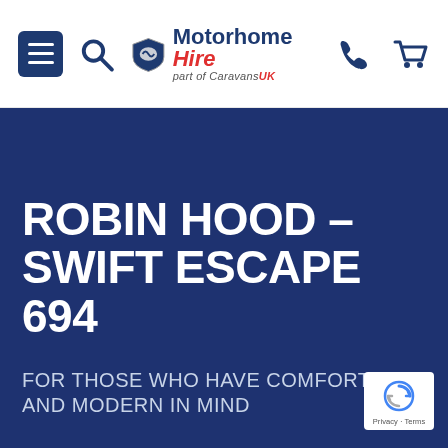[Figure (screenshot): Motorhome Hire website navigation bar with hamburger menu, search icon, logo (Motorhome Hire - part of CaravansUK), phone icon, and cart icon]
ROBIN HOOD – SWIFT ESCAPE 694
FOR THOSE WHO HAVE COMFORT AND MODERN IN MIND